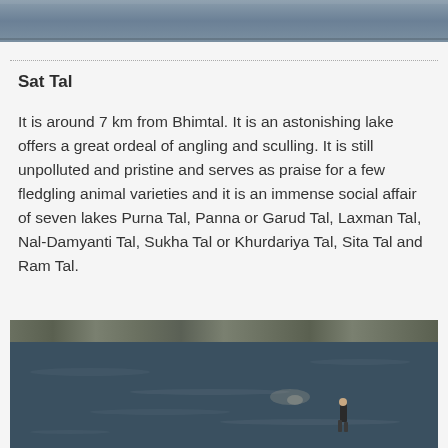[Figure (photo): Top portion of a scenic lake or water body photograph, showing dark blue-grey water]
Sat Tal
It is around 7 km from Bhimtal. It is an astonishing lake offers a great ordeal of angling and sculling. It is still unpolluted and pristine and serves as praise for a few fledgling animal varieties and it is an immense social affair of seven lakes Purna Tal, Panna or Garud Tal, Laxman Tal, Nal-Damyanti Tal, Sukha Tal or Khurdariya Tal, Sita Tal and Ram Tal.
[Figure (photo): A person wading in a rocky river or lake shore, with stones visible along the bank and water in the foreground]